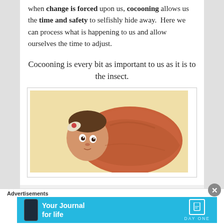when change is forced upon us, cocooning allows us the time and safety to selfishly hide away. Here we can process what is happening to us and allow ourselves the time to adjust.
Cocooning is every bit as important to us as it is to the insect.
[Figure (photo): A newborn baby swaddled tightly in an orange/rust-colored knit wrap, lying on a cream-colored surface, with a floral headband.]
Advertisements
[Figure (other): Advertisement banner: Your Journal for life – Day One app. Cyan/blue background with phone graphic and bookmark icon logo.]